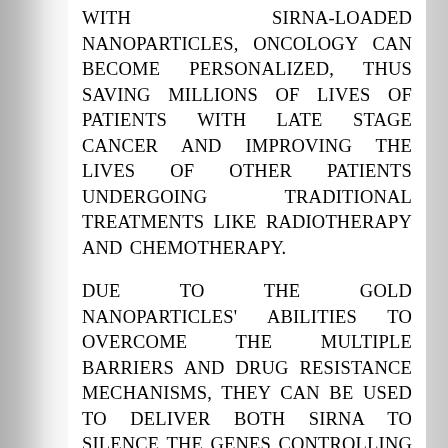WITH SIRNA-LOADED NANOPARTICLES, ONCOLOGY CAN BECOME PERSONALIZED, THUS SAVING MILLIONS OF LIVES OF PATIENTS WITH LATE STAGE CANCER AND IMPROVING THE LIVES OF OTHER PATIENTS UNDERGOING TRADITIONAL TREATMENTS LIKE RADIOTHERAPY AND CHEMOTHERAPY.
DUE TO THE GOLD NANOPARTICLES' ABILITIES TO OVERCOME THE MULTIPLE BARRIERS AND DRUG RESISTANCE MECHANISMS, THEY CAN BE USED TO DELIVER BOTH SIRNA TO SILENCE THE GENES CONTROLLING DRUG RESISTANCE AND ALSO CHEMOTHERAPEUTIC COMPOUNDS TO COMPLETELY ELIMINATE THE DISEASE
BOVINE SERUM ALBUMIN-PROTECTED GOLD NANOCLUSTERS EXHIBIT